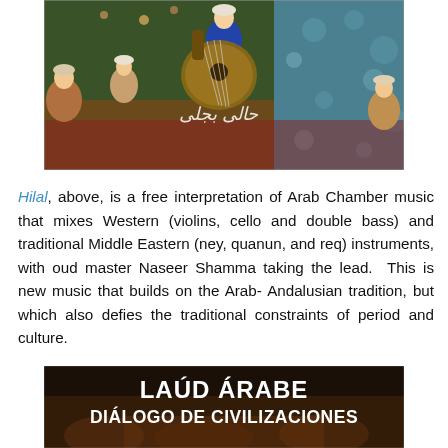[Figure (illustration): Persian/Ottoman miniature painting depicting musicians playing instruments including an oud (lute). Several figures in traditional attire are shown, with Arabic/Persian calligraphy script visible in the center of the image.]
Hilal, above, is a free interpretation of Arab Chamber music that mixes Western (violins, cello and double bass) and traditional Middle Eastern (ney, quanun, and req) instruments, with oud master Naseer Shamma taking the lead. This is new music that builds on the Arab- Andalusian tradition, but which also defies the traditional constraints of period and culture.
[Figure (photo): Album cover or promotional image with dark background and overlaid white bold text reading 'LAÚD ÁRABE DIÁLOGO DE CIVILIZACIONES'. The background appears to show figures in traditional dress.]